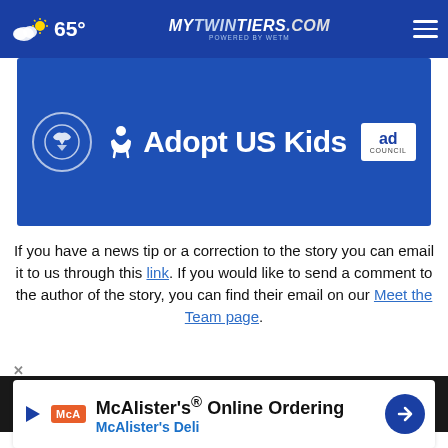65° MyTwinTiers.com
[Figure (screenshot): Adopt US Kids advertisement banner on a blue background with HHS logo, person icon, AdoptUSKids text, and Ad Council logo]
If you have a news tip or a correction to the story you can email it to us through this link. If you would like to send a comment to the author of the story, you can find their email on our Meet the Team page.
WETM - MyTwinTiers.com Video
[Figure (screenshot): McAlister's Online Ordering advertisement with McAlister's Deli logo and navigation arrow icon]